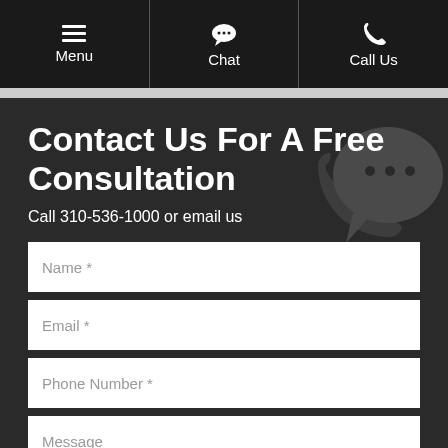Menu | Chat | Call Us
Contact Us For A Free Consultation
Call 310-536-1000 or email us
Name *
Email *
Phone Number *
Message